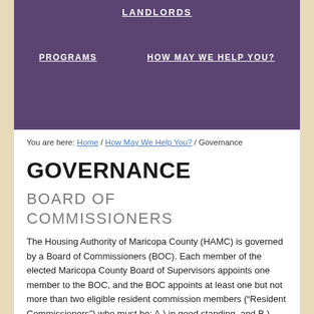LANDLORDS
PROGRAMS   HOW MAY WE HELP YOU?
You are here: Home / How May We Help You? / Governance
GOVERNANCE
BOARD OF COMMISSIONERS
The Housing Authority of Maricopa County (HAMC) is governed by a Board of Commissioners (BOC). Each member of the elected Maricopa County Board of Supervisors appoints one member to the BOC, and the BOC appoints at least one but not more than two eligible resident commission members (“Resident Commissioners”) who must be: A.) in good standing, and B.) either a Housing Authority housing resident (Category 1) or a Housing Authority Rental Assistance recipient (Category 2). A